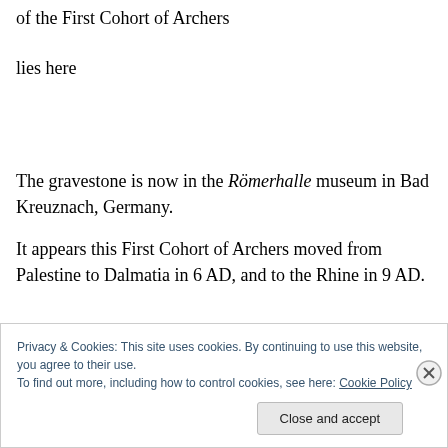of the First Cohort of Archers
lies here
The gravestone is now in the Römerhalle museum in Bad Kreuznach, Germany.
It appears this First Cohort of Archers moved from Palestine to Dalmatia in 6 AD, and to the Rhine in 9 AD.
Privacy & Cookies: This site uses cookies. By continuing to use this website, you agree to their use.
To find out more, including how to control cookies, see here: Cookie Policy